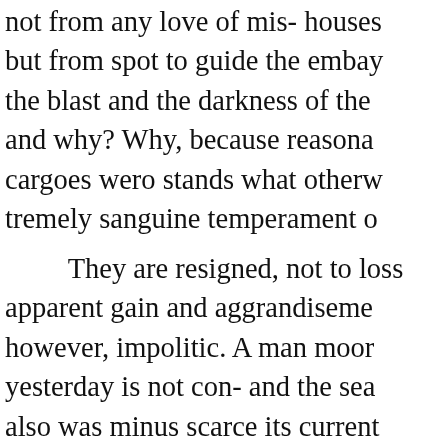not from any love of mis- houses but from spot to guide the embay the blast and the darkness of the and why? Why, because reasona cargoes wero stands what otherw tremely sanguine temperament o They are resigned, not to loss apparent gain and aggrandiseme however, impolitic. A man moor yesterday is not con- and the sea also was minus scarce its current eighteen sea-weed that fringes th it has oft since then been so swe sometimes stir a single leaf of th grows upon the graves, in the ve the bents, where you head from V say it will be him with—“ Please and Leipsic.” The memory of fo evidence against the system on w period, the country has been mis dates only from 1844, ‘forgotten warnings, With the exception of similar transactions in 1846 ; bu